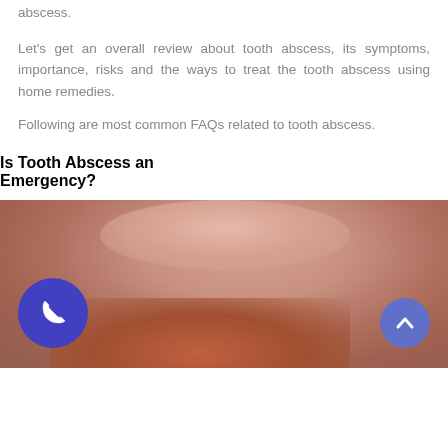abscess.
Let's get an overall review about tooth abscess, its symptoms, importance, risks and the ways to treat the tooth abscess using home remedies.
Following are most common FAQs related to tooth abscess.
Is Tooth Abscess an Emergency?
[Figure (photo): Close-up photo of a person's mouth showing inflamed/swollen gum area, with a blue phone call button overlay on the bottom left and a blue up-arrow button on the bottom right.]